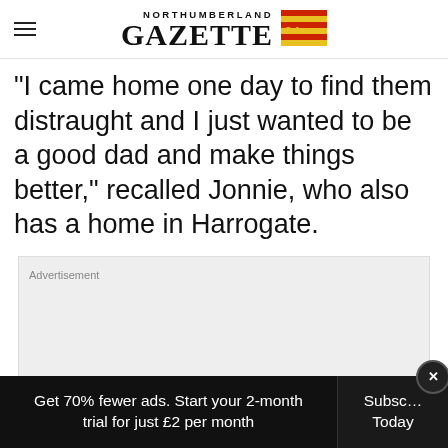NORTHUMBERLAND GAZETTE
“I came home one day to find them distraught and I just wanted to be a good dad and make things better,” recalled Jonnie, who also has a home in Harrogate.
[Figure (other): Advertisement placeholder box with grey background]
Get 70% fewer ads. Start your 2-month trial for just £2 per month | Subscribe Today